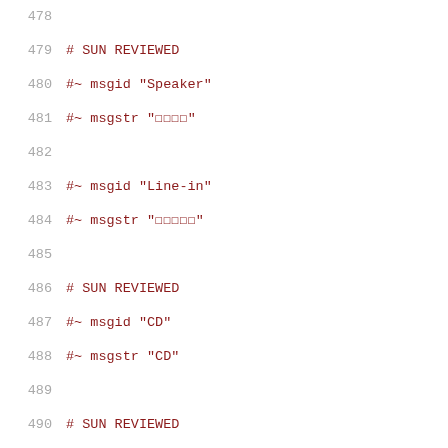478
479  # SUN REVIEWED
480  #~ msgid "Speaker"
481  #~ msgstr "□□□□"
482
483  #~ msgid "Line-in"
484  #~ msgstr "□□□□□"
485
486  # SUN REVIEWED
487  #~ msgid "CD"
488  #~ msgstr "CD"
489
490  # SUN REVIEWED
491  #~ msgid "Mixer"
492  #~ msgstr "□□□□"
493
494  # SUN REVIEWED
495  #~ msgid "PCM-2"
496  #~ msgstr "PCM-2"
497
498  # SUN REVIEWED
499  #~ msgid "Record"